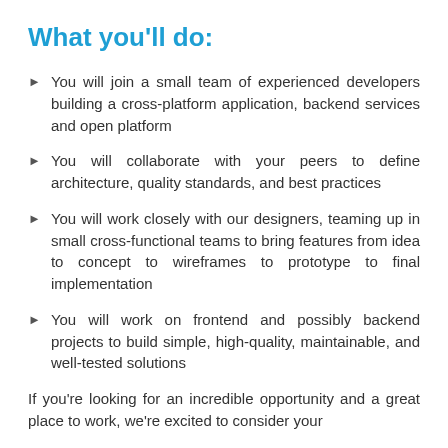What you'll do:
You will join a small team of experienced developers building a cross-platform application, backend services and open platform
You will collaborate with your peers to define architecture, quality standards, and best practices
You will work closely with our designers, teaming up in small cross-functional teams to bring features from idea to concept to wireframes to prototype to final implementation
You will work on frontend and possibly backend projects to build simple, high-quality, maintainable, and well-tested solutions
If you're looking for an incredible opportunity and a great place to work, we're excited to consider your